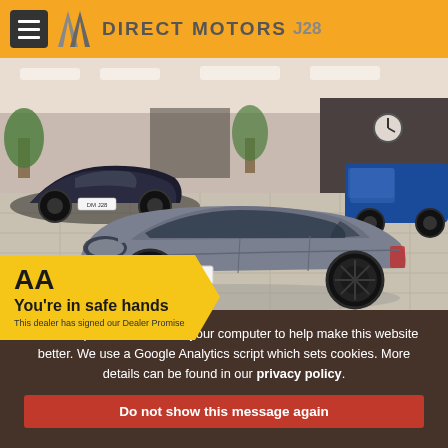Direct Motors J28
[Figure (photo): Interior of a car dealership showroom. A grey Ford Focus ST estate/hatchback is parked in the center foreground, showing a custom licence plate reading 'DM J28'. Behind it on the left is a dark blue sports car, and on the right a blue van/minivan. The showroom has tiled floors, ceiling lights, and plants.]
[Figure (infographic): AA 'You're in safe hands' dealer promise badge. Yellow chevron/arrow shape background. Bold 'AA' text at top left. Text reads: 'You're in safe hands' in large font, and 'This dealer has signed our Dealer Promise' in smaller font below.]
We have placed cookies on your computer to help make this website better. We use a Google Analytics script which sets cookies. More details can be found in our privacy policy.
Do not show this message again